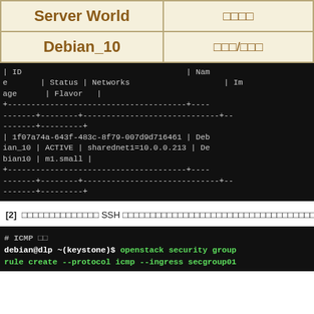| Server World | □□□□ |
| --- | --- |
| Debian_10 | □□□/□□□ |
| ID                                    | Name       | Status | Networks                    | Image    | Flavor   |
+----------------------------------------+------------+--------+-----------------------------+----------+----------+
| 1f07a74a-643f-483c-8f79-007d9d716461 | Debian_10  | ACTIVE | sharednet1=10.0.0.213       | Debian10 | m1.small |
+----------------------------------------+------------+--------+-----------------------------+----------+----------+
[2]  □□□□□□□□□□□□□□ SSH □□□□□□□□□□□□□□□□□□□□□□□□□□□□□□□□□□□□□□□□
# ICMP □□
debian@dlp ~(keystone)$ openstack security group rule create --protocol icmp --ingress secgroup01